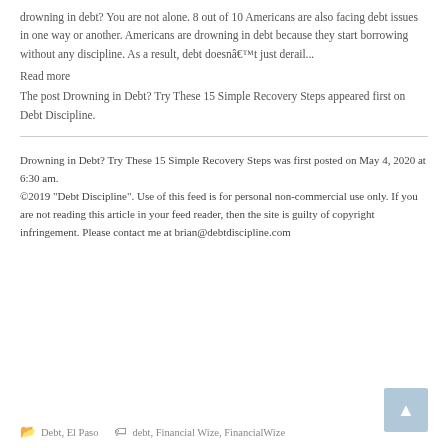drowning in debt? You are not alone. 8 out of 10 Americans are also facing debt issues in one way or another. Americans are drowning in debt because they start borrowing without any discipline. As a result, debt doesnât just derail...
Read more
The post Drowning in Debt? Try These 15 Simple Recovery Steps appeared first on Debt Discipline.
Drowning in Debt? Try These 15 Simple Recovery Steps was first posted on May 4, 2020 at 6:30 am.
©2019 "Debt Discipline". Use of this feed is for personal non-commercial use only. If you are not reading this article in your feed reader, then the site is guilty of copyright infringement. Please contact me at brian@debtdiscipline.com
Debt, El Paso | debt, Financial Wize, FinancialWize